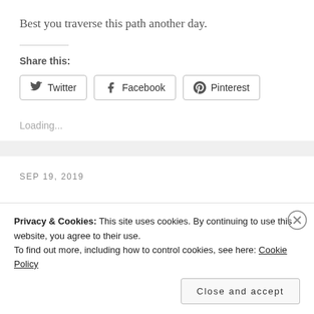Best you traverse this path another day.
Share this:
[Figure (other): Social share buttons: Twitter, Facebook, Pinterest]
Loading...
SEP 19, 2019
Privacy & Cookies: This site uses cookies. By continuing to use this website, you agree to their use. To find out more, including how to control cookies, see here: Cookie Policy
Close and accept